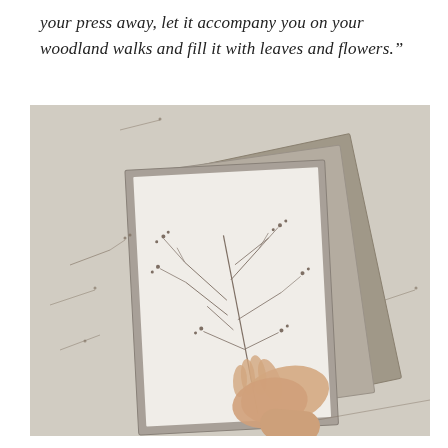your press away, let it accompany you on your woodland walks and fill it with leaves and flowers."
[Figure (photo): A person's hand placing a delicate dried grass or wildflower stem onto a white sheet of paper on top of a stack of grey/beige bookbinding boards or press boards, arranged on a light beige surface. Small dried plant fragments are scattered around on the surface.]